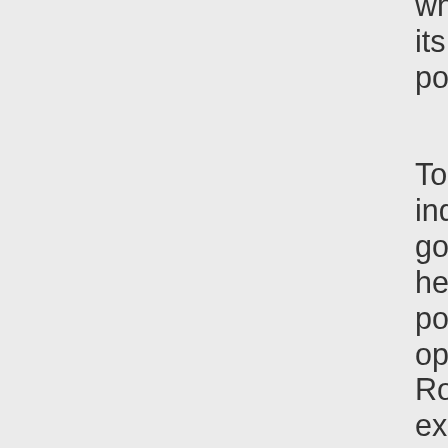who came to fulfil it, in all its truth. Paul made these points in Romans.
To answer your point about individuals not hearing the good news and going to hell, are actually true. This point is made in the opening chapters of Romans. Please let me explain.
Since the dawn of creation Gen ch 1. God is creator...